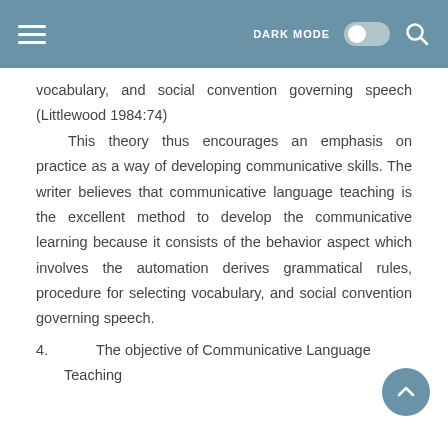DARK MODE [toggle] [search]
vocabulary, and social convention governing speech (Littlewood 1984:74)
This theory thus encourages an emphasis on practice as a way of developing communicative skills. The writer believes that communicative language teaching is the excellent method to develop the communicative learning because it consists of the behavior aspect which involves the automation derives grammatical rules, procedure for selecting vocabulary, and social convention governing speech.
4.    The objective of Communicative Language Teaching